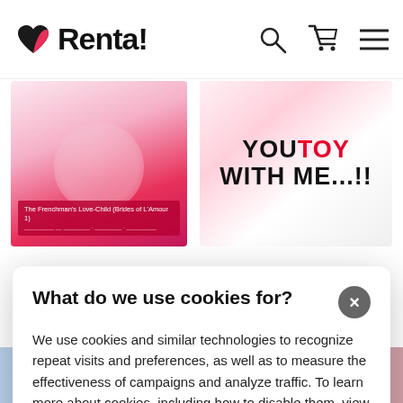Renta!
[Figure (screenshot): Manga book covers in the background — left cover: The Frenchman's Love-Child (Brides of L'Amour 1), right cover: YOU TOY WITH ME...!!]
What do we use cookies for?
We use cookies and similar technologies to recognize repeat visits and preferences, as well as to measure the effectiveness of campaigns and analyze traffic. To learn more about cookies, including how to disable them, view our Privacy Policy. By clicking "I Accept" or "×" on the banner, or using our site, you consent to the use of cookies unless you have disabled them.